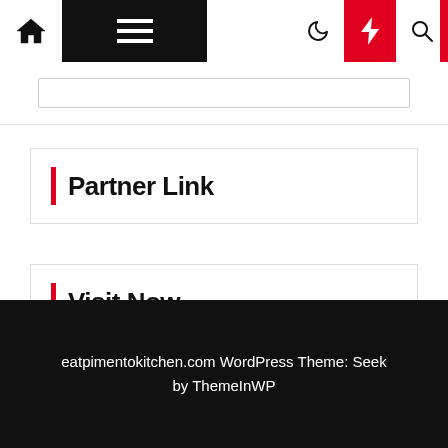Navigation bar with home, menu, moon, bolt, and search icons
Partner Link
Visit Now
Technology
eatpimentokitchen.com WordPress Theme: Seek by ThemeInWP